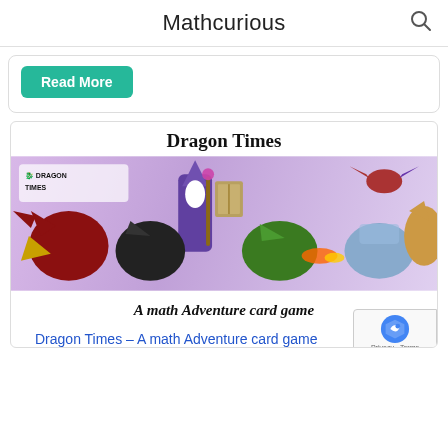Mathcurious
Read More
Dragon Times
[Figure (illustration): Dragon Times illustration showing a wizard in purple robes with a beard holding a staff, surrounded by multiple dragons of various colors (red, black, green, blue, brown), and the Dragon Times logo in the upper left. Background is purple/lavender.]
A math Adventure card game
Dragon Times – A math Adventure card game